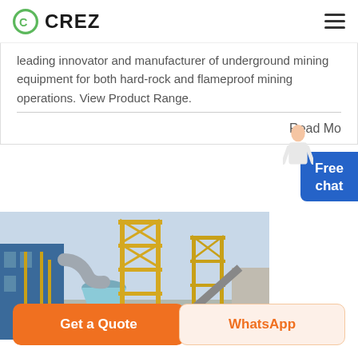CREZ
leading innovator and manufacturer of underground mining equipment for both hard-rock and flameproof mining operations. View Product Range.
Read Mo...
[Figure (photo): Industrial mining facility with yellow steel frame tower structure, large blue buildings, conveyor belts, and a dust collector cyclone unit against a hazy sky.]
Get a Quote
WhatsApp